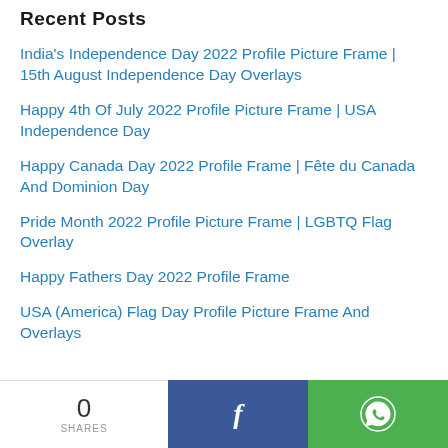Recent Posts
India's Independence Day 2022 Profile Picture Frame | 15th August Independence Day Overlays
Happy 4th Of July 2022 Profile Picture Frame | USA Independence Day
Happy Canada Day 2022 Profile Frame | Fête du Canada And Dominion Day
Pride Month 2022 Profile Picture Frame | LGBTQ Flag Overlay
Happy Fathers Day 2022 Profile Frame
USA (America) Flag Day Profile Picture Frame And Overlays
0 SHARES  [Facebook share button]  [WhatsApp share button]